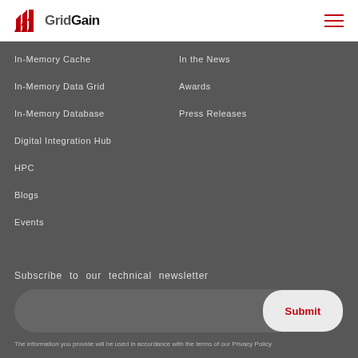GridGain
In-Memory Cache
In-Memory Data Grid
In-Memory Database
Digital Integration Hub
HPC
Blogs
Events
In the News
Awards
Press Releases
Subscribe to our technical newsletter
Submit
The information you provide will be used in accordance with the terms of our Privacy Policy